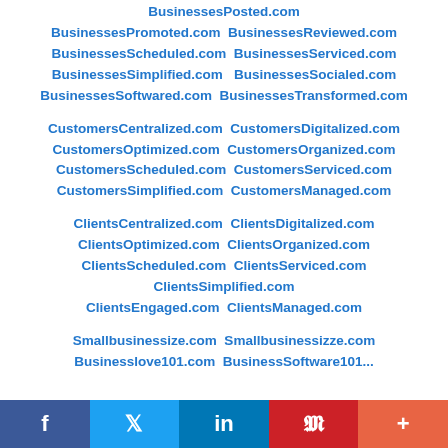BusinessesPosted.com BusinessesPromoted.com BusinessesReviewed.com BusinessesScheduled.com BusinessesServiced.com BusinessesSimplified.com BusinessesSocialed.com BusinessesSoftwared.com BusinessesTransformed.com
CustomersCentralized.com CustomersDigitalized.com CustomersOptimized.com CustomersOrganized.com CustomersScheduled.com CustomersServiced.com CustomersSimplified.com CustomersManaged.com
ClientsCentralized.com ClientsDigitalized.com ClientsOptimized.com ClientsOrganized.com ClientsScheduled.com ClientsServiced.com ClientsSimplified.com ClientsEngaged.com ClientsManaged.com
Smallbusinessize.com Smallbusinessizze.com
f  Twitter  in  Pinterest  +